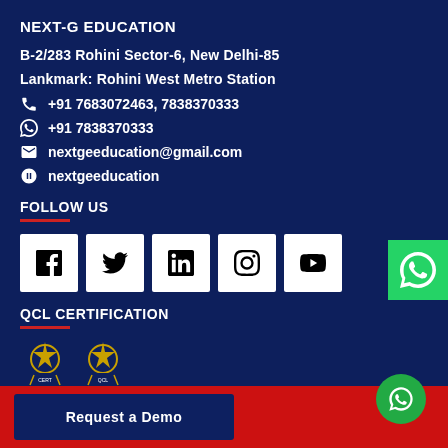NEXT-G EDUCATION
B-2/283 Rohini Sector-6, New Delhi-85
Lankmark: Rohini West Metro Station
+91 7683072463, 7838370333
+91 7838370333
nextgeeducation@gmail.com
nextgeeducation
FOLLOW US
[Figure (illustration): Social media icons: Facebook, Twitter, LinkedIn, Instagram, YouTube]
QCL CERTIFICATION
[Figure (logo): QCL Certification badge/logo icons]
Request a Demo